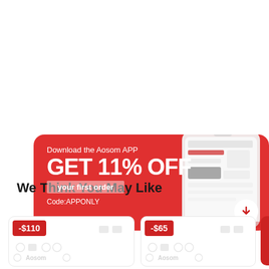[Figure (infographic): Aosom app promotional banner with red background, showing 'Download the Aosom APP GET 11% OFF your first order Code:APPONLY' with a phone mockup and download arrow icon]
We Think You May Like
[Figure (infographic): Product card with -$110 red discount badge and placeholder icons]
[Figure (infographic): Product card with -$65 red discount badge and placeholder icons]
[Figure (infographic): Partially visible product card with red background on the right edge]